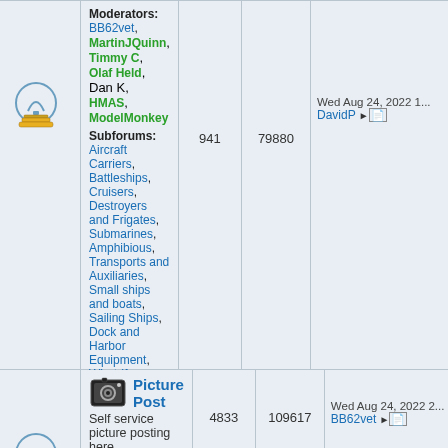| Icon | Forum | Topics | Posts | Last Post |
| --- | --- | --- | --- | --- |
| [icon] | Moderators: BB62vet, MartinJQuinn, Timmy C, Olaf Held, Dan K, HMAS, ModelMonkey
Subforums: Aircraft Carriers, Battleships, Cruisers, Destroyers and Frigates, Submarines, Amphibious, Transports and Auxiliaries, Small ships and boats, Sailing Ships, Dock and Harbor Equipment, What-If | 941 | 79880 | Wed Aug 24, 2022 1... DavidP |
| [icon] | Picture Post - Self service picture posting here.
Moderators: MartinJQuinn, JIM BAUMANN, Jon, Dan K
Subforum: Group Builds | 4833 | 109617 | Wed Aug 24, 2022 2... BB62vet |
| [icon] | Tips and Tricks - Post here for tips on modeling.
Moderator: JIM BAUMANN | 1677 | 10742 | Wed Aug 10, 2022 1... drasticplastic |
| [icon] | FAQ - Frequently Asked Questions (Read only)
Moderator: JIM BAUMANN | 53 | 375 | Sat Jan 22, 2022 1... JIM BAUMANN |
| [icon] | Trading Post - Buy and sell here. Note you must register to post in this forum.
Moderators: MartinJQuinn, HMAS | 28 | 592 | Sun Aug 21, 2022 2... scots navy |